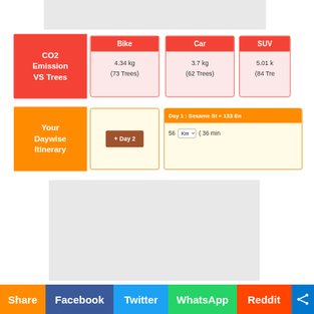[Figure (screenshot): Grey advertisement banner at top of page]
| CO2 Emission VS Trees | Bike | Car | SUV |
| --- | --- | --- | --- |
|  | 4.34 kg
(73 Trees) | 3.7 kg
(62 Trees) | 5.01 kg
(84 Trees) |
| Your Daywise Itinerary | + Day 2 | Day 1 : Sesame St » 133 En... |
| --- | --- | --- |
|  |  | 56 Km ( 36 min |
[Figure (screenshot): Grey advertisement banner in lower portion of page]
Share  Facebook  Twitter  WhatsApp  Reddit